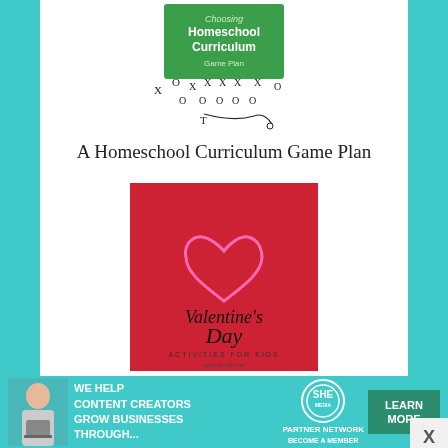[Figure (illustration): Book cover for 'Choosing Homeschool Curriculum' with football play diagram below it showing X's and O's]
A Homeschool Curriculum Game Plan
[Figure (illustration): Red square book cover with pink hand-drawn heart and cursive text reading "Valentine's Day" with subtitle "Activities for Kids"]
Valentine's Day Activities for Kids
[Figure (illustration): Advertisement banner: 'We help content creators grow businesses through...' with SHE Partner Network logo and Learn More button]